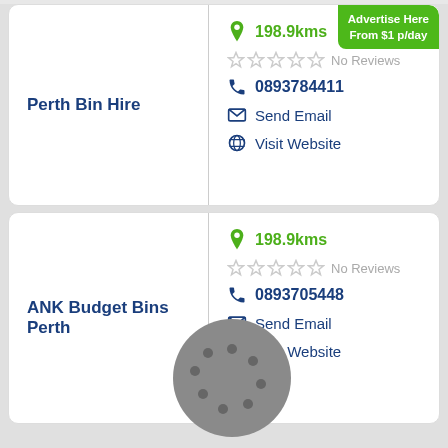[Figure (infographic): Listing card for Perth Bin Hire with location 198.9kms, no reviews (5 empty stars), phone 0893784411, Send Email and Visit Website links. Green 'Advertise Here From $1 p/day' badge in top-right corner.]
[Figure (infographic): Listing card for ANK Budget Bins Perth with location 198.9kms, no reviews (5 empty stars), phone 0893705448, Send Email and Visit Website links. Grey circle overlay icon visible over the card.]